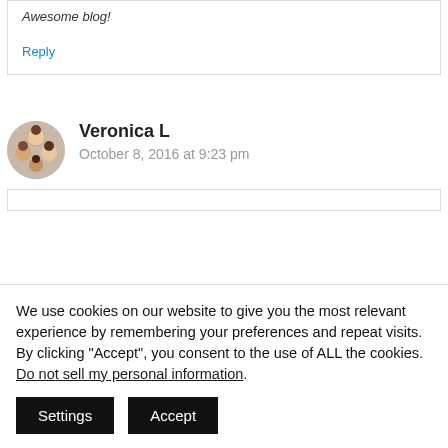Awesome blog!
Reply
Veronica L
October 8, 2016 at 9:23 pm
We use cookies on our website to give you the most relevant experience by remembering your preferences and repeat visits. By clicking “Accept”, you consent to the use of ALL the cookies. Do not sell my personal information.
Settings
Accept